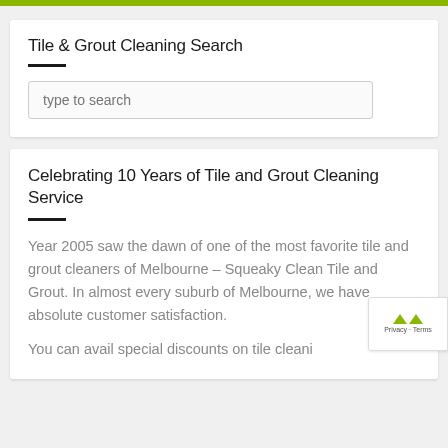Tile & Grout Cleaning Search
type to search
Celebrating 10 Years of Tile and Grout Cleaning Service
Year 2005 saw the dawn of one of the most favorite tile and grout cleaners of Melbourne – Squeaky Clean Tile and Grout. In almost every suburb of Melbourne, we have absolute customer satisfaction.
You can avail special discounts on tile cleaning service by a simple subscription to our mailing